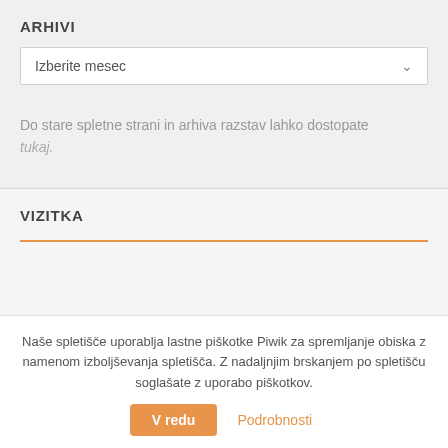ARHIVI
[Figure (screenshot): Dropdown select element with placeholder text 'Izberite mesec' and a chevron arrow on the right]
Do stare spletne strani in arhiva razstav lahko dostopate tukaj.
VIZITKA
Naše spletišče uporablja lastne piškotke Piwik za spremljanje obiska z namenom izboljševanja spletišča. Z nadaljnjim brskanjem po spletišču soglašate z uporabo piškotkov.
V redu   Podrobnosti